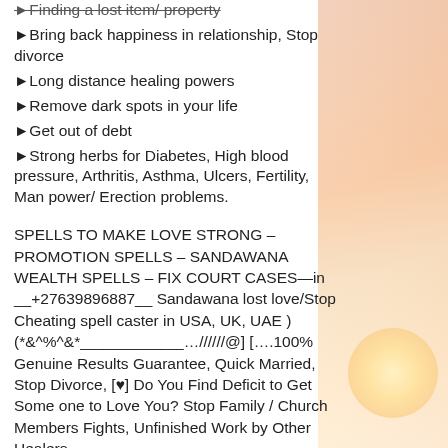►Finding a lost item/ property
►Bring back happiness in relationship, Stop divorce
►Long distance healing powers
►Remove dark spots in your life
►Get out of debt
►Strong herbs for Diabetes, High blood pressure, Arthritis, Asthma, Ulcers, Fertility, Man power/ Erection problems.
SPELLS TO MAKE LOVE STRONG – PROMOTION SPELLS – SANDAWANA WEALTH SPELLS – FIX COURT CASES—in __+27639896887__ Sandawana lost love/Stop Cheating spell caster in USA, UK, UAE )(*&^%^&*____________…//////@] [….100% Genuine Results Guarantee, Quick Married, Stop Divorce, [♥] Do You Find Deficit to Get Some one to Love You? Stop Family / Church Members Fights, Unfinished Work by Other Healers ,  Quick Claiming Your Pension Fund ETC NB: Solve all Your Love Problems & Life